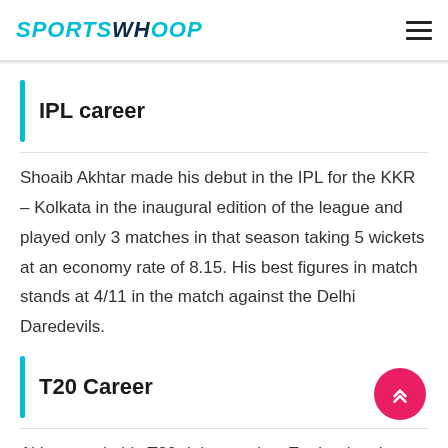SPORTSWHOOP
IPL career
Shoaib Akhtar made his debut in the IPL for the KKR – Kolkata in the inaugural edition of the league and played only 3 matches in that season taking 5 wickets at an economy rate of 8.15. His best figures in match stands at 4/11 in the match against the Delhi Daredevils.
T20 Career
Akhtar made his T20 debut against England at the County ground on 28th August 2006.